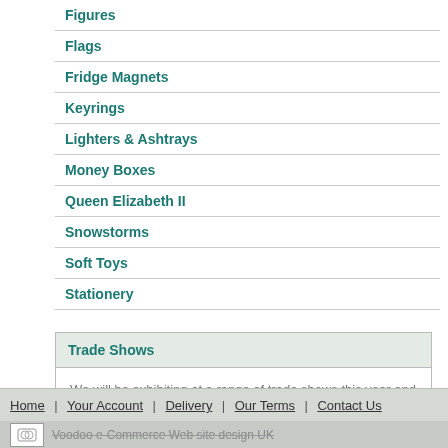[Figure (screenshot): Register to view prices button with teal arrow on left side]
Figures
Flags
Fridge Magnets
Keyrings
Lighters & Ashtrays
Money Boxes
Queen Elizabeth II
Snowstorms
Soft Toys
Stationery
Trade Shows
We will be exhibiting at a range of trade shows this year and welcome you to attend.  Click here for details
Home | Your Account | Delivery | Our Terms | Contact Us
Voodoo e-Commerce Web site design UK